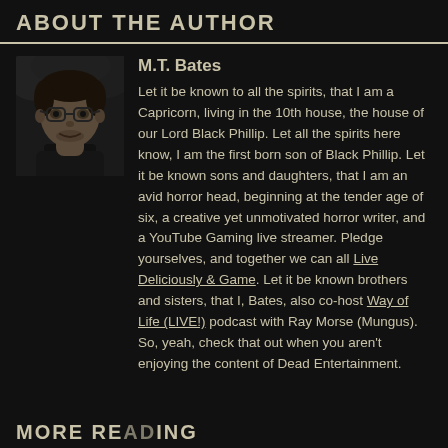ABOUT THE AUTHOR
[Figure (photo): Black and white photo of M.T. Bates, a young man wearing glasses and a dark shirt, smiling slightly]
M.T. Bates
Let it be known to all the spirits, that I am a Capricorn, living in the 10th house, the house of our Lord Black Phillip. Let all the spirits here know, I am the first born son of Black Phillip. Let it be known sons and daughters, that I am an avid horror head, beginning at the tender age of six, a creative yet unmotivated horror writer, and a YouTube Gaming live streamer. Pledge yourselves, and together we can all Live Deliciously & Game. Let it be known brothers and sisters, that I, Bates, also co-host Way of Life (LIVE!) podcast with Ray Morse (Mungus). So, yeah, check that out when you aren't enjoying the content of Dead Entertainment.
MORE READING